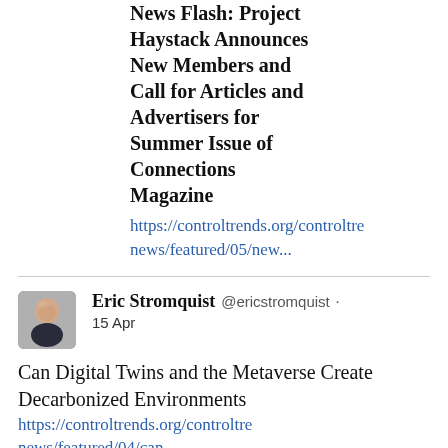News Flash: Project Haystack Announces New Members and Call for Articles and Advertisers for Summer Issue of Connections Magazine https://controltrends.org/controltren news/featured/05/new...
[Figure (photo): Profile photo of Eric Stromquist, a bald middle-aged man in a suit]
Eric Stromquist @ericstromquist · 15 Apr
Can Digital Twins and the Metaverse Create Decarbonized Environments https://controltrends.org/controltren news/featured/04/can...
Load More...